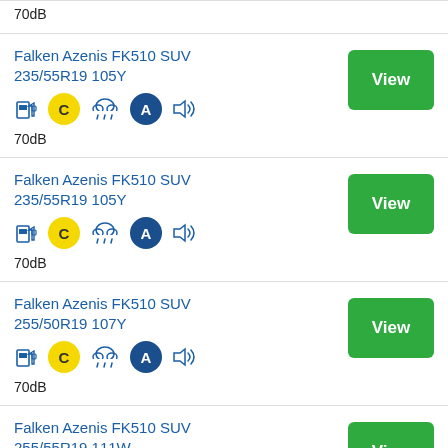70dB
Falken Azenis FK510 SUV 235/55R19 105Y
70dB
Falken Azenis FK510 SUV 235/55R19 105Y
70dB
Falken Azenis FK510 SUV 255/50R19 107Y
70dB
Falken Azenis FK510 SUV 255/55R19 111W